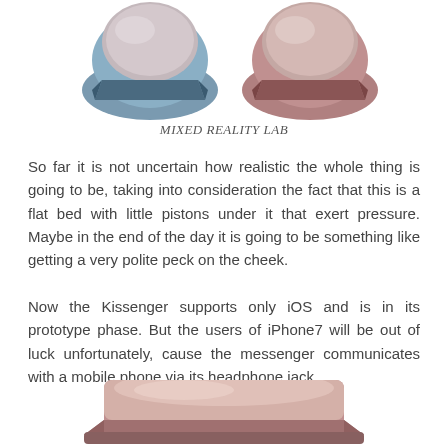[Figure (illustration): Two 3D rendered Kissenger devices — one in blue-grey and one in pink-brown — shown from above, cropped at top of page]
MIXED REALITY LAB
So far it is not uncertain how realistic the whole thing is going to be, taking into consideration the fact that this is a flat bed with little pistons under it that exert pressure. Maybe in the end of the day it is going to be something like getting a very polite peck on the cheek.
Now the Kissenger supports only iOS and is in its prototype phase. But the users of iPhone7 will be out of luck unfortunately, cause the messenger communicates with a mobile phone via its headphone jack.
[Figure (illustration): Bottom portion of a pink-brown Kissenger device, partially cropped at bottom of page]